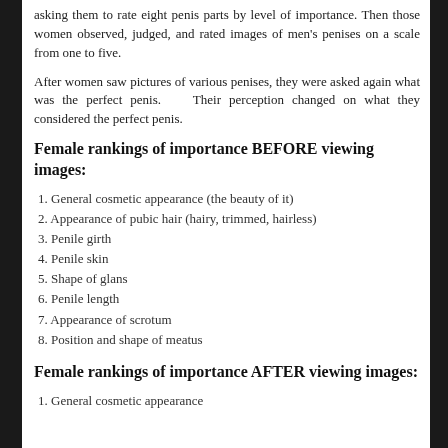asking them to rate eight penis parts by level of importance. Then those women observed, judged, and rated images of men's penises on a scale from one to five.
After women saw pictures of various penises, they were asked again what was the perfect penis. Their perception changed on what they considered the perfect penis.
Female rankings of importance BEFORE viewing images:
1. General cosmetic appearance (the beauty of it)
2. Appearance of pubic hair (hairy, trimmed, hairless)
3. Penile girth
4. Penile skin
5. Shape of glans
6. Penile length
7. Appearance of scrotum
8. Position and shape of meatus
Female rankings of importance AFTER viewing images:
1. General cosmetic appearance